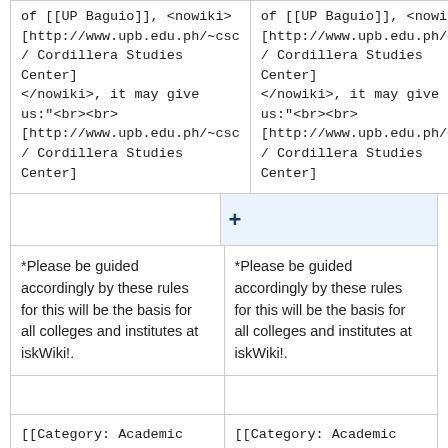of [[UP Baguio]], <nowiki>[http://www.upb.edu.ph/~csc / Cordillera Studies Center]</nowiki>, it may give us:"<br><br>[http://www.upb.edu.ph/~csc / Cordillera Studies Center]
of [[UP Baguio]], <nowiki>[http://www.upb.edu.ph/~csc / Cordillera Studies Center]</nowiki>, it may give us:"<br><br>[http://www.upb.edu.ph/~csc / Cordillera Studies Center]
*Please be guided accordingly by these rules for this will be the basis for all colleges and institutes at iskWiki!.
*Please be guided accordingly by these rules for this will be the basis for all colleges and institutes at iskWiki!.
[[Category: Academic Templates]]

</noinclude>
[[Category: Academic Templates]]

</noinclude>